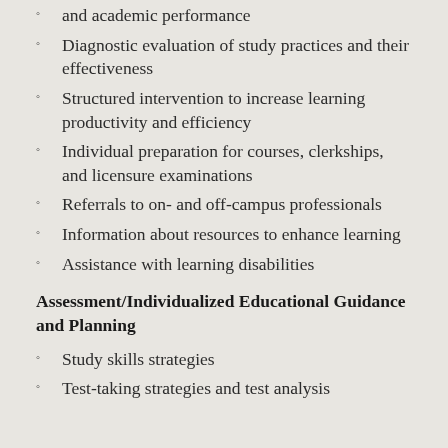and academic performance
Diagnostic evaluation of study practices and their effectiveness
Structured intervention to increase learning productivity and efficiency
Individual preparation for courses, clerkships, and licensure examinations
Referrals to on- and off-campus professionals
Information about resources to enhance learning
Assistance with learning disabilities
Assessment/Individualized Educational Guidance and Planning
Study skills strategies
Test-taking strategies and test analysis